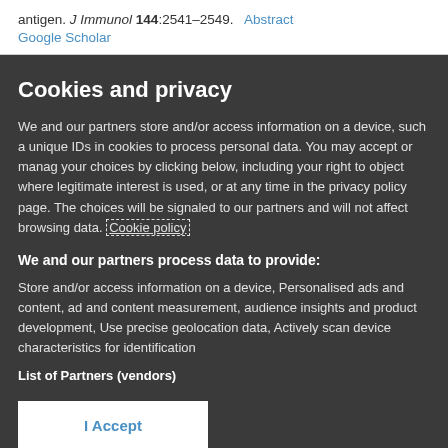antigen. J Immunol 144:2541–2549.   Abstract   Google Scholar
Cookies and privacy
We and our partners store and/or access information on a device, such as unique IDs in cookies to process personal data. You may accept or manage your choices by clicking below, including your right to object where legitimate interest is used, or at any time in the privacy policy page. These choices will be signaled to our partners and will not affect browsing data. Cookie policy
We and our partners process data to provide:
Store and/or access information on a device, Personalised ads and content, ad and content measurement, audience insights and product development, Use precise geolocation data, Actively scan device characteristics for identification
List of Partners (vendors)
I Accept